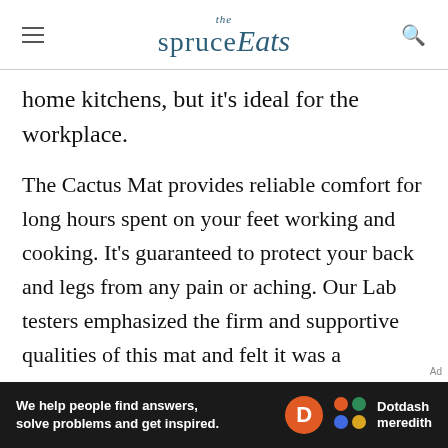the spruce Eats
home kitchens, but it's ideal for the workplace.
The Cactus Mat provides reliable comfort for long hours spent on your feet working and cooking. It's guaranteed to protect your back and legs from any pain or aching. Our Lab testers emphasized the firm and supportive qualities of this mat and felt it was a worthwhile value. They also gave high marks for the mat's textured surface that grips your shoes to prevent slipping. It's an ideal thickness that provides even support throughout the bottom of
[Figure (other): Dotdash Meredith advertisement banner: 'We help people find answers, solve problems and get inspired.' with Dotdash Meredith logo]